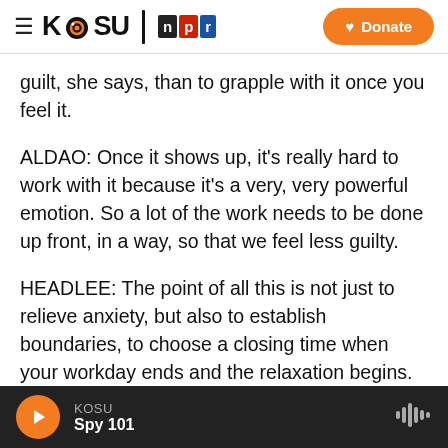KOSU | npr — Donate
guilt, she says, than to grapple with it once you feel it.
ALDAO: Once it shows up, it's really hard to work with it because it's a very, very powerful emotion. So a lot of the work needs to be done up front, in a way, so that we feel less guilty.
HEADLEE: The point of all this is not just to relieve anxiety, but also to establish boundaries, to choose a closing time when your workday ends and the relaxation begins. Be careful about reading the news at that point, though. Aldao says some of the
KOSU — Spy 101